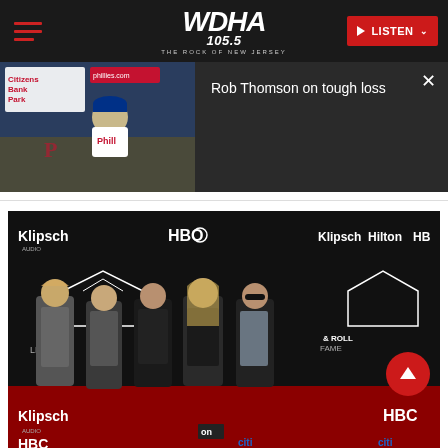WDHA 105.5 THE ROCK OF NEW JERSEY
[Figure (screenshot): Video thumbnail of Phillies press conference with Rob Thomson, Citizens Bank Park branding visible, overlaid with video info panel showing title 'Rob Thomson on tough loss' with close button]
[Figure (photo): Def Leppard band members posing on red carpet at Rock & Roll Hall of Fame induction ceremony with Klipsch, HBO, Hilton sponsor banners in background]